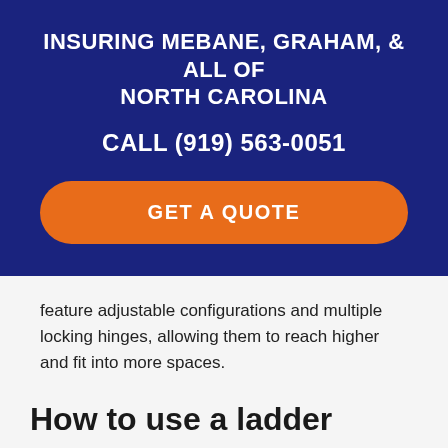INSURING MEBANE, GRAHAM, & ALL OF NORTH CAROLINA
CALL (919) 563-0051
GET A QUOTE
feature adjustable configurations and multiple locking hinges, allowing them to reach higher and fit into more spaces.
How to use a ladder